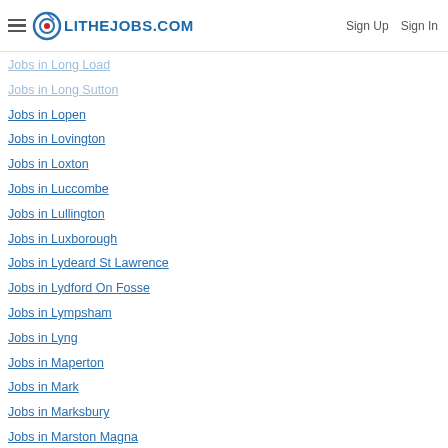LITHEJOBS.COM | Sign Up | Sign In
Jobs in Long Load
Jobs in Long Sutton
Jobs in Lopen
Jobs in Lovington
Jobs in Loxton
Jobs in Luccombe
Jobs in Lullington
Jobs in Luxborough
Jobs in Lydeard St Lawrence
Jobs in Lydford On Fosse
Jobs in Lympsham
Jobs in Lyng
Jobs in Maperton
Jobs in Mark
Jobs in Marksbury
Jobs in Marston Magna
Jobs in Martock
Jobs in Meare
Jobs in Mells
Jobs in Merriott
Jobs in Middlezoy
Jobs in Midsomer Norton
Jobs in Milborne Port